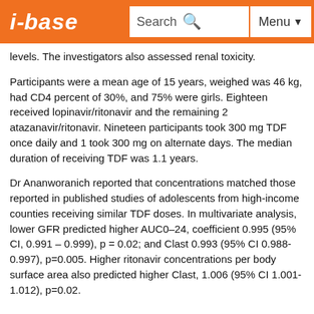i-base | Search | Menu
levels. The investigators also assessed renal toxicity.
Participants were a mean age of 15 years, weighed was 46 kg, had CD4 percent of 30%, and 75% were girls. Eighteen received lopinavir/ritonavir and the remaining 2 atazanavir/ritonavir. Nineteen participants took 300 mg TDF once daily and 1 took 300 mg on alternate days. The median duration of receiving TDF was 1.1 years.
Dr Ananworanich reported that concentrations matched those reported in published studies of adolescents from high-income counties receiving similar TDF doses. In multivariate analysis, lower GFR predicted higher AUC0–24, coefficient 0.995 (95% CI, 0.991 – 0.999), p = 0.02; and Clast 0.993 (95% CI 0.988-0.997), p=0.005. Higher ritonavir concentrations per body surface area also predicted higher Clast, 1.006 (95% CI 1.001-1.012), p=0.02.